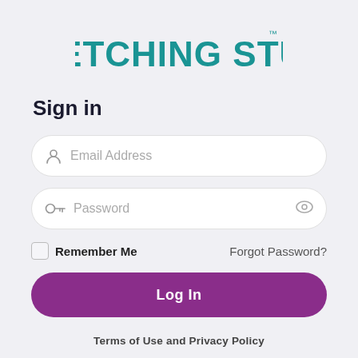[Figure (logo): Sketching Stuff logo in teal/dark cyan stylized font with trademark symbol]
Sign in
[Figure (screenshot): Email Address input field with person icon and placeholder text]
[Figure (screenshot): Password input field with key icon, placeholder text, and eye toggle icon]
Remember Me   Forgot Password?
[Figure (screenshot): Log In button in purple/violet rounded rectangle]
Terms of Use and Privacy Policy